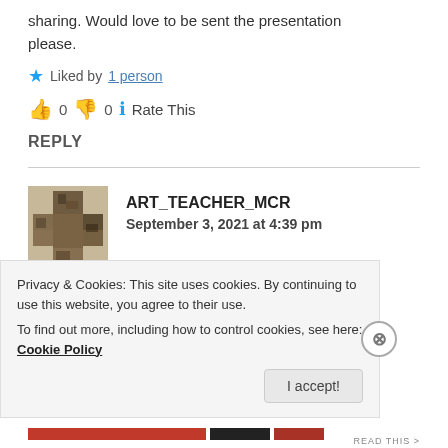sharing. Would love to be sent the presentation please.
Liked by 1 person
👍 0  👎 0  ℹ Rate This
REPLY
ART_TEACHER_MCR
September 3, 2021 at 4:39 pm
I'm happy to share and no problem! I have just
Privacy & Cookies: This site uses cookies. By continuing to use this website, you agree to their use.
To find out more, including how to control cookies, see here: Cookie Policy
I accept!